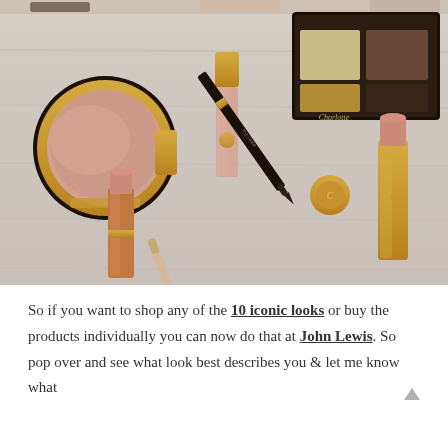[Figure (photo): Flatlay photo of Charlotte Tilbury makeup products on a whitewashed wood surface, including a blush compact, lipstick, lip gloss, eyeliner pencil, eye pencil, eyeshadow palette, and lip liner pencil, all in rose gold packaging.]
So if you want to shop any of the 10 iconic looks or buy the products individually you can now do that at John Lewis. So pop over and see what look best describes you & let me know what